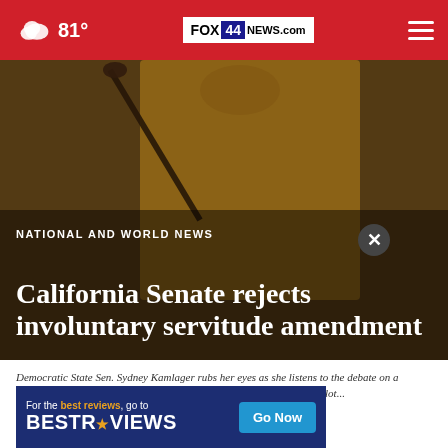81° FOX 44 NEWS.com
[Figure (photo): Democratic State Sen. Sydney Kamlager rubs her eyes as she listens to the debate on a measure she is carrying to place a Constitutional amendment on the ballot — person in yellow jacket at microphone.]
NATIONAL AND WORLD NEWS
California Senate rejects involuntary servitude amendment
Democratic State Sen. Sydney Kamlager rubs her eyes as she listens to the debate on a measure she is carrying to place a Constitutional amendment on the ballot...
Read M...
by: AP... Press